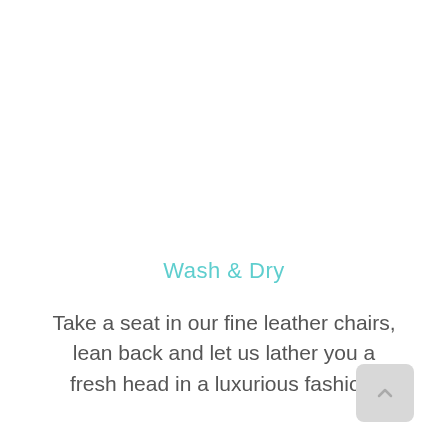Wash & Dry
Take a seat in our fine leather chairs, lean back and let us lather you a fresh head in a luxurious fashion.